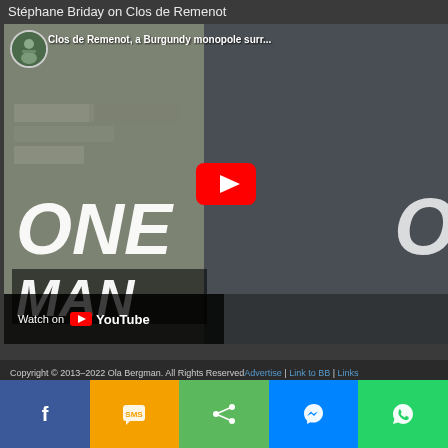Stéphane Briday on Clos de Remenot
[Figure (screenshot): YouTube video thumbnail showing 'Clos de Remenot, a Burgundy monopole surr...' with a man in plaid shirt standing in front of stone wall, text says ONE MAN, with YouTube play button overlay, Watch on YouTube bar at bottom]
Copyright © 2013–2022 Ola Bergman. All Rights ReservedAdvertise | Link to BB | Links
[Figure (infographic): Social share bar with Facebook, SMS, Share, Messenger, and WhatsApp buttons]